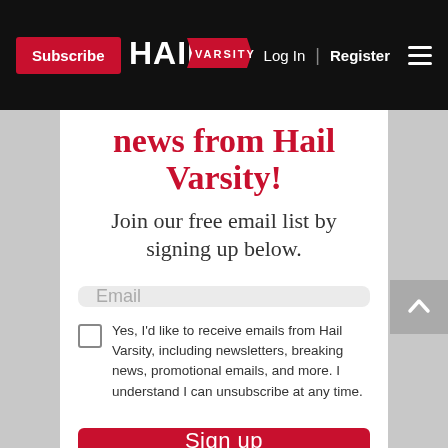Subscribe | HAIL VARSITY | Log In | Register
news from Hail Varsity!
Join our free email list by signing up below.
Email
Yes, I'd like to receive emails from Hail Varsity, including newsletters, breaking news, promotional emails, and more. I understand I can unsubscribe at any time.
Sign up